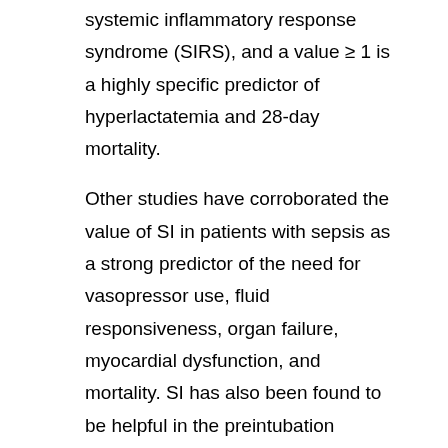systemic inflammatory response syndrome (SIRS), and a value ≥ 1 is a highly specific predictor of hyperlactatemia and 28-day mortality.
Other studies have corroborated the value of SI in patients with sepsis as a strong predictor of the need for vasopressor use, fluid responsiveness, organ failure, myocardial dysfunction, and mortality. SI has also been found to be helpful in the preintubation assessment of patients with impending respiratory failure.
Studies have reported that approximately 2% of ED intubations are associated with subsequent cardiac arrest, and an SI > 0.8-1.0 is a predictor of the postintubation arrest.